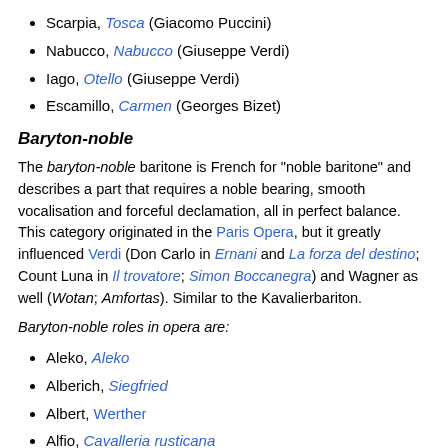Scarpia, Tosca (Giacomo Puccini)
Nabucco, Nabucco (Giuseppe Verdi)
Iago, Otello (Giuseppe Verdi)
Escamillo, Carmen (Georges Bizet)
Baryton-noble
The baryton-noble baritone is French for "noble baritone" and describes a part that requires a noble bearing, smooth vocalisation and forceful declamation, all in perfect balance. This category originated in the Paris Opera, but it greatly influenced Verdi (Don Carlo in Ernani and La forza del destino; Count Luna in Il trovatore; Simon Boccanegra) and Wagner as well (Wotan; Amfortas). Similar to the Kavalierbariton.
Baryton-noble roles in opera are:
Aleko, Aleko
Alberich, Siegfried
Albert, Werther
Alfio, Cavalleria rusticana
Amfortas, Parsifal